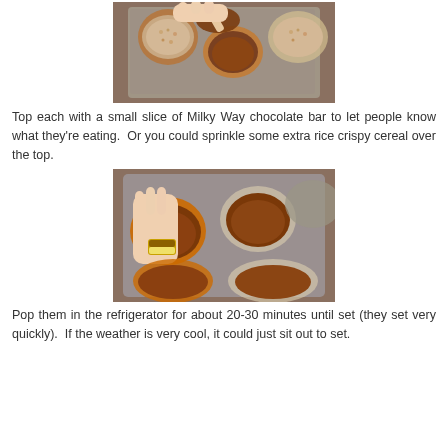[Figure (photo): A hand using a spoon to spread or add chocolate filling into cupcake liners in a muffin tin. Some cups show rice crispy base, one being filled with chocolate.]
Top each with a small slice of Milky Way chocolate bar to let people know what they're eating.  Or you could sprinkle some extra rice crispy cereal over the top.
[Figure (photo): A hand placing a small slice of Milky Way chocolate bar on top of a chocolate-filled cupcake liner in a muffin tin. Several other filled cups visible.]
Pop them in the refrigerator for about 20-30 minutes until set (they set very quickly).  If the weather is very cool, it could just sit out to set.